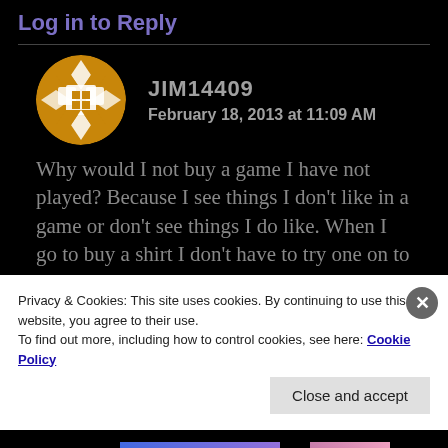Log in to Reply
JIM14409
February 18, 2013 at 11:09 AM
Why would I not buy a game I have not played? Because I see things I don't like in a game or don't see things I do like. When I go to buy a shirt I don't have to try one on to know whether or not I like it. I try
Privacy & Cookies: This site uses cookies. By continuing to use this website, you agree to their use.
To find out more, including how to control cookies, see here: Cookie Policy
Close and accept